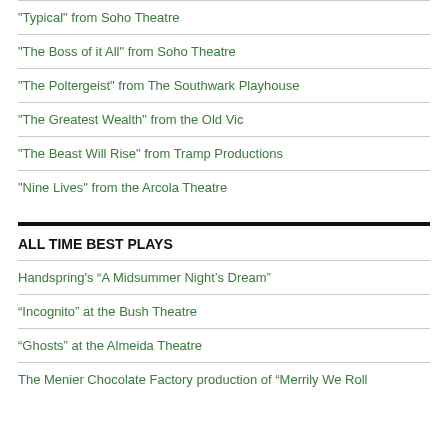“Typical” from Soho Theatre
“The Boss of it All” from Soho Theatre
“The Poltergeist” from The Southwark Playhouse
“The Greatest Wealth” from the Old Vic
“The Beast Will Rise” from Tramp Productions
“Nine Lives” from the Arcola Theatre
ALL TIME BEST PLAYS
Handspring’s “A Midsummer Night’s Dream”
“Incognito” at the Bush Theatre
“Ghosts” at the Almeida Theatre
The Menier Chocolate Factory production of “Merrily We Roll